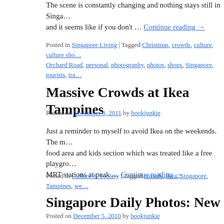The scene is constantly changing and nothing stays still in Singa… and it seems like if you don't … Continue reading →
Posted in Singapore Living | Tagged Christmas, crowds, culture, culture shock, Orchard Road, personal, photography, photos, shops, Singapore, tourists, tra…
Massive Crowds at Ikea Tampines
Posted on November 9, 2011 by bookjunkie
Just a reminder to myself to avoid Ikea on the weekends. The m… food area and kids section which was treated like a free playgro… MRT stations at peak … Continue reading →
Posted in Culture & Society | Tagged crowds, ikea, Singapore, Tampines, we…
Singapore Daily Photos: New Mall = Lots
Posted on December 5, 2010 by bookjunkie
If you're crazy like me and love getting bumped into every few… get the full Singapore experience. I definitely only do this for…